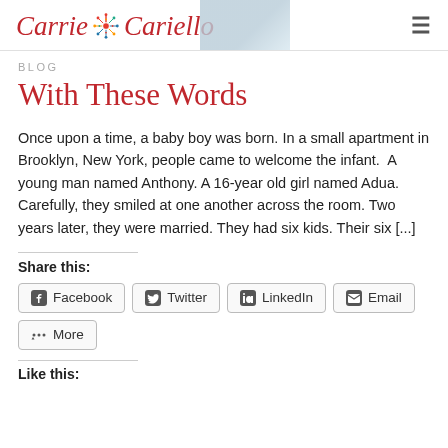Carrie Cariello [logo]
BLOG
With These Words
Once upon a time, a baby boy was born. In a small apartment in Brooklyn, New York, people came to welcome the infant.  A young man named Anthony. A 16-year old girl named Adua. Carefully, they smiled at one another across the room. Two years later, they were married. They had six kids. Their six [...]
Share this:
Facebook  Twitter  LinkedIn  Email  More